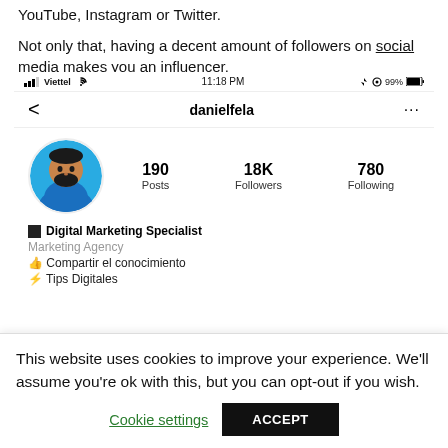YouTube, Instagram or Twitter.

Not only that, having a decent amount of followers on social media makes you an influencer.
[Figure (screenshot): Instagram profile screenshot of user 'danielfela' showing 190 Posts, 18K Followers, 780 Following. Bio shows Digital Marketing Specialist, Marketing Agency, Compartir el conocimiento, Tips Digitales. Status bar shows Viettel carrier, 11:18 PM, 99% battery.]
This website uses cookies to improve your experience. We'll assume you're ok with this, but you can opt-out if you wish.
Cookie settings
ACCEPT